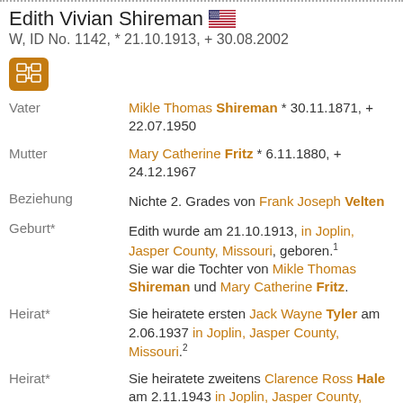Edith Vivian Shireman
W, ID No. 1142, * 21.10.1913, + 30.08.2002
| Field | Value |
| --- | --- |
| Vater | Mikle Thomas Shireman * 30.11.1871, + 22.07.1950 |
| Mutter | Mary Catherine Fritz * 6.11.1880, + 24.12.1967 |
| Beziehung | Nichte 2. Grades von Frank Joseph Velten |
| Geburt* | Edith wurde am 21.10.1913, in Joplin, Jasper County, Missouri, geboren.1 Sie war die Tochter von Mikle Thomas Shireman und Mary Catherine Fritz. |
| Heirat* | Sie heiratete ersten Jack Wayne Tyler am 2.06.1937 in Joplin, Jasper County, Missouri.2 |
| Heirat* | Sie heiratete zweitens Clarence Ross Hale am 2.11.1943 in Joplin, Jasper County, Missouri.3 |